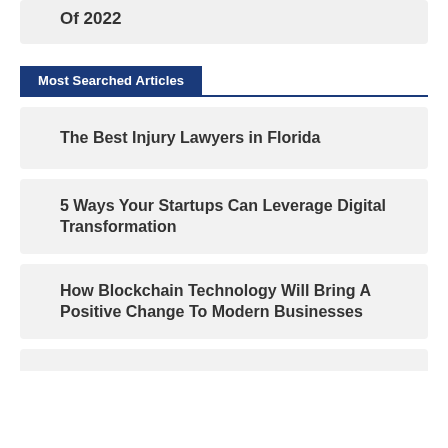Of 2022
Most Searched Articles
The Best Injury Lawyers in Florida
5 Ways Your Startups Can Leverage Digital Transformation
How Blockchain Technology Will Bring A Positive Change To Modern Businesses